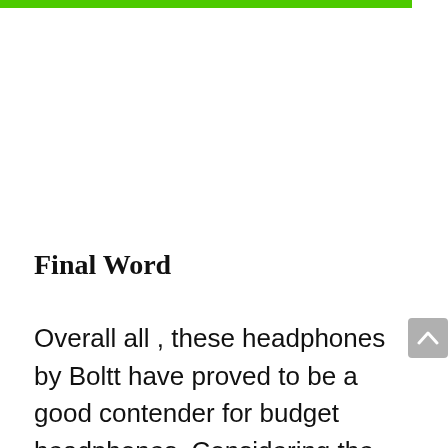[Figure (other): Green horizontal bar at top of page]
Final Word
Overall all , these headphones by Boltt have proved to be a good contender for budget headphones. Considering the sound , built , design and comfort.